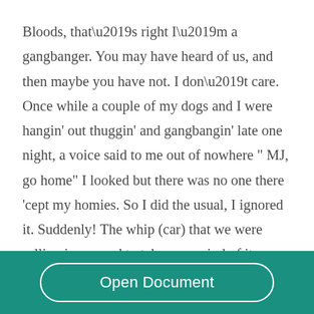Bloods, that’s right I’m a gangbanger. You may have heard of us, and then maybe you have not. I don’t care. Once while a couple of my dogs and I were hangin' out thuggin' and gangbangin' late one night, a voice said to me out of nowhere " MJ, go home" I looked but there was no one there 'cept my homies. So I did the usual, I ignored it. Suddenly! The whip (car) that we were rolling in seemed to take on a mind of its own and started acting very
Open Document